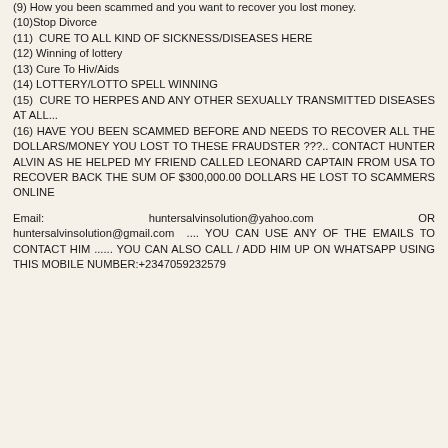(9) How you been scammed and you want to recover you lost money.
(10)Stop Divorce
(11) CURE TO ALL KIND OF SICKNESS/DISEASES HERE
(12) Winning of lottery
(13) Cure To Hiv/Aids
(14) LOTTERY/LOTTO SPELL WINNING
(15) CURE TO HERPES AND ANY OTHER SEXUALLY TRANSMITTED DISEASES AT ALL...
(16) HAVE YOU BEEN SCAMMED BEFORE AND NEEDS TO RECOVER ALL THE DOLLARS/MONEY YOU LOST TO THESE FRAUDSTER ???.. CONTACT HUNTER ALVIN AS HE HELPED MY FRIEND CALLED LEONARD CAPTAIN FROM USA TO RECOVER BACK THE SUM OF $300,000.00 DOLLARS HE LOST TO SCAMMERS ONLINE
Email: huntersalvinsolution@yahoo.com OR huntersalvinsolution@gmail.com .... YOU CAN USE ANY OF THE EMAILS TO CONTACT HIM ...... YOU CAN ALSO CALL / ADD HIM UP ON WHATSAPP USING THIS MOBILE NUMBER:+2347059232579